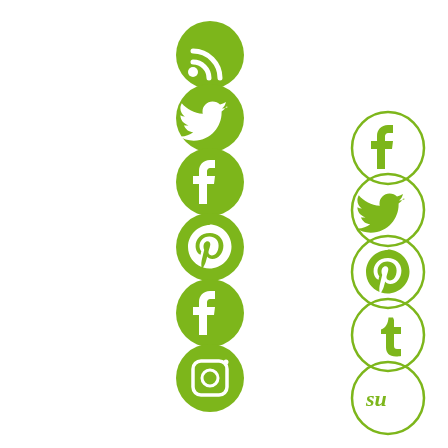[Figure (illustration): Two columns of social media icons in green. Left column: filled green circles with RSS, Twitter, Facebook, Pinterest, Facebook, Instagram icons. Right column: outlined green circles with Facebook, Twitter, Pinterest, Tumblr, StumbleUpon icons.]